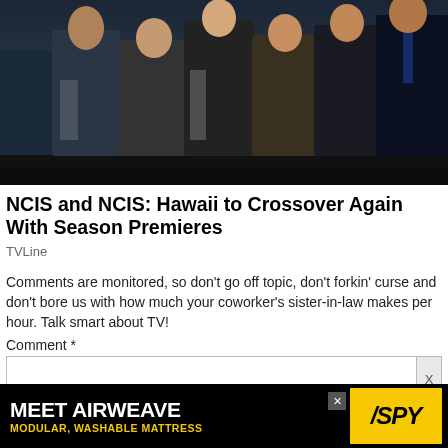[Figure (photo): Group of people standing together in a dark studio or office setting, with a computer monitor visible on the left side. Multiple men in various casual and business casual attire.]
NCIS and NCIS: Hawaii to Crossover Again With Season Premieres
TVLine
Comments are monitored, so don't go off topic, don't forkin' curse and don't bore us with how much your coworker's sister-in-law makes per hour. Talk smart about TV!
Comment *
[Figure (screenshot): Comment text input box with an X close button on the right side]
[Figure (other): Advertisement banner for Airweave: MEET AIRWEAVE MODULAR, WASHABLE MATTRESS with SPY logo on yellow background]